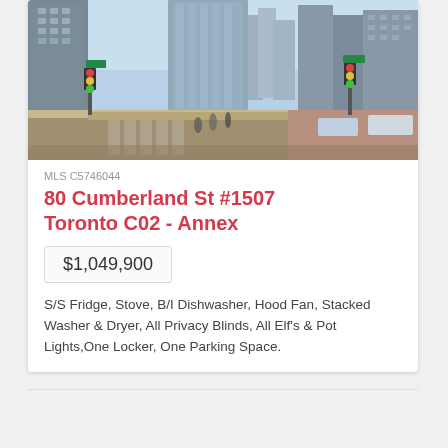[Figure (photo): Street-level photo of a Toronto urban intersection with high-rise condos and city buildings]
MLS C5746044
80 Cumberland St #1507
Toronto C02 - Annex
$1,049,900
S/S Fridge, Stove, B/I Dishwasher, Hood Fan, Stacked Washer & Dryer, All Privacy Blinds, All Elf's & Pot Lights,One Locker, One Parking Space.